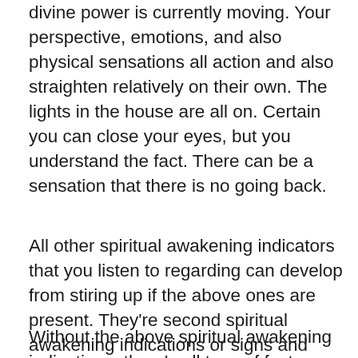divine power is currently moving. Your perspective, emotions, and also physical sensations all action and also straighten relatively on their own. The lights in the house are all on. Certain you can close your eyes, but you understand the fact. There can be a sensation that there is no going back.
All other spiritual awakening indicators that you listen to regarding can develop from stiring up if the above ones are present. They're second spiritual awakening indications or signs and symptoms, although I do not favor the term spiritual awakening signs and symptom.
Without the above spiritual awakening indications, there's all type of factors...